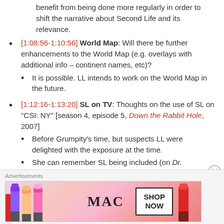benefit from being done more regularly in order to shift the narrative about Second Life and its relevance.
[1:08:56-1:10:56] World Map: Will there be further enhancements to the World Map (e.g. overlays with additional info – continent names, etc)?
It is possible. LL intends to work on the World Map in the future.
[1:12:16-1:13:20] SL on TV: Thoughts on the use of SL on "CSI: NY" [season 4, episode 5, Down the Rabbit Hole, 2007]
Before Grumpity's time, but suspects LL were delighted with the exposure at the time.
She can remember SL being included (on Dr.
Advertisements
[Figure (photo): MAC cosmetics advertisement banner showing lipsticks, MAC logo, and SHOP NOW button]